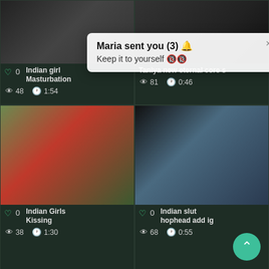[Figure (screenshot): Video thumbnail grid of adult content website with notification popup overlay. Top row shows two video thumbnails with titles partially obscured by popup. Middle row shows 'Indian Girls Kissing' (38 views, 1:30 duration, 0 likes) and 'Indian slut hophead add ig' (68 views, 0:55 duration, 0 likes). Bottom row shows two more video thumbnails. A notification popup reads 'Maria sent you (3)' and 'Keep it to yourself'. A scroll-up button is visible at bottom right.]
Maria sent you (3) 🔔
Keep it to yourself 🔞🔞
Indian girl
Masturbation
48 views · 1:54
Taniya new eternal core s
81 views · 0:46
Indian Girls Kissing
38 views · 1:30
Indian slut hophead add ig
68 views · 0:55